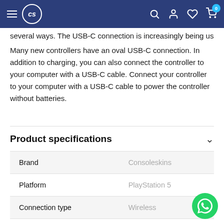CS [logo] — navigation header
several ways. The USB-C connection is increasingly being used. Many new controllers have an oval USB-C connection. In addition to charging, you can also connect the controller to your computer with a USB-C cable. Connect your controller to your computer with a USB-C cable to power the controller without batteries.
Product specifications
|  |  |
| --- | --- |
| Brand | Consoleskins |
| Platform | PlayStation 5 |
| Connection type | Wireless |
| Controller type | Gamepad |